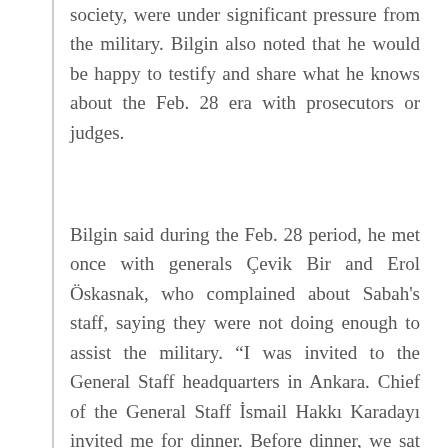society, were under significant pressure from the military. Bilgin also noted that he would be happy to testify and share what he knows about the Feb. 28 era with prosecutors or judges.
Bilgin said during the Feb. 28 period, he met once with generals Çevik Bir and Erol Öskasnak, who complained about Sabah's staff, saying they were not doing enough to assist the military. “I was invited to the General Staff headquarters in Ankara. Chief of the General Staff İsmail Hakkı Karadayı invited me for dinner. Before dinner, we sat together